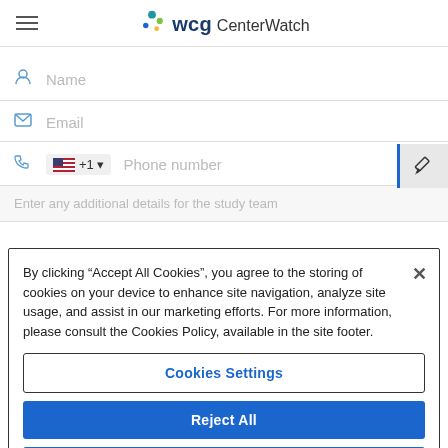[Figure (logo): WCG CenterWatch logo with colorful dots above 'wcg' text and 'CenterWatch' beside it]
Name
Email
+1  Phone number
Enter any additional details for the study team
By clicking “Accept All Cookies”, you agree to the storing of cookies on your device to enhance site navigation, analyze site usage, and assist in our marketing efforts. For more information, please consult the Cookies Policy, available in the site footer.
Cookies Settings
Reject All
Accept All Cookies